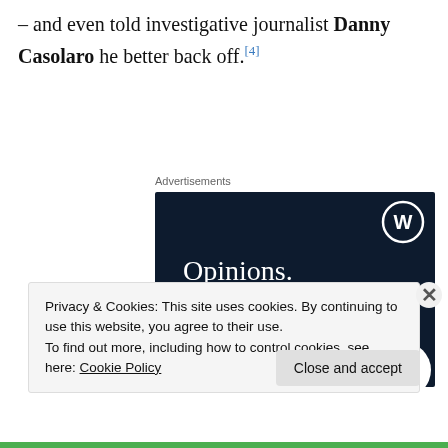– and even told investigative journalist Danny Casolaro he better back off.[4]
Advertisements
[Figure (illustration): WordPress advertisement with dark navy background showing WordPress logo (W in circle), text 'Opinions.' and 'We all have them!' in white, pink button bar at bottom left, white circle at bottom right.]
Privacy & Cookies: This site uses cookies. By continuing to use this website, you agree to their use. To find out more, including how to control cookies, see here: Cookie Policy
Close and accept